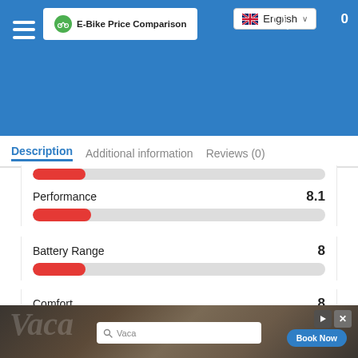E-Bike Price Comparison
Description | Additional information | Reviews (0)
Performance 8.1
Battery Range 8
Comfort 8
[Figure (screenshot): Advertisement overlay showing a travel/vacation booking ad with search bar and Book Now button]